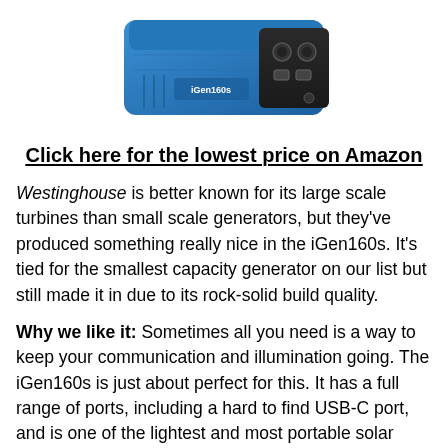[Figure (photo): Photo of a blue Westinghouse iGen160s portable solar generator, showing the top and back with ports, against a white background.]
Click here for the lowest price on Amazon
Westinghouse is better known for its large scale turbines than small scale generators, but they've produced something really nice in the iGen160s. It's tied for the smallest capacity generator on our list but still made it in due to its rock-solid build quality.
Why we like it: Sometimes all you need is a way to keep your communication and illumination going. The iGen160s is just about perfect for this. It has a full range of ports, including a hard to find USB-C port, and is one of the lightest and most portable solar generators on the market. When you consider the built-in flashlight and floodlight you end up with one of the best entry-level solar